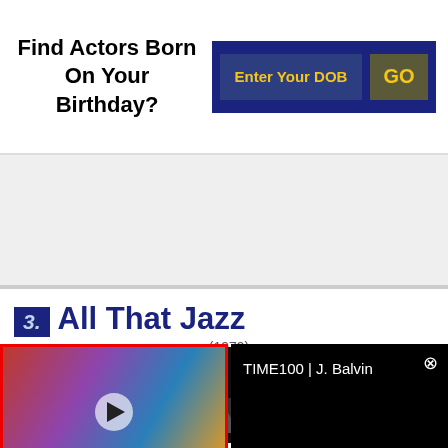Find Actors Born On Your Birthday?
Enter Your DOB
GO
[Figure (screenshot): White ad space placeholder area]
3. All That Jazz
(1979)
[Figure (photo): Movie poster for All That Jazz showing ROY SCHEIDER text on dark background]
[Figure (screenshot): Video thumbnail showing J. Balvin with colorful background and play button, TIME100 label overlay, framed in red border]
TIME100 | J. Balvin